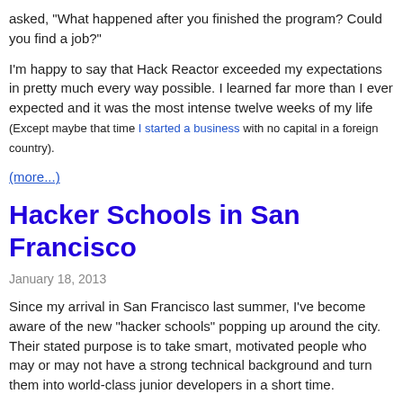asked, "What happened after you finished the program? Could you find a job?"
I'm happy to say that Hack Reactor exceeded my expectations in pretty much every way possible. I learned far more than I ever expected and it was the most intense twelve weeks of my life (Except maybe that time I started a business with no capital in a foreign country).
(more...)
Hacker Schools in San Francisco
January 18, 2013
Since my arrival in San Francisco last summer, I've become aware of the new "hacker schools" popping up around the city. Their stated purpose is to take smart, motivated people who may or may not have a strong technical background and turn them into world-class junior developers in a short time.